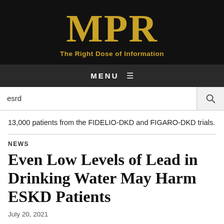MPR — The Right Dose of Information
MENU ≡
esrd
13,000 patients from the FIDELIO-DKD and FIGARO-DKD trials.
NEWS
Even Low Levels of Lead in Drinking Water May Harm ESKD Patients
July 20, 2021